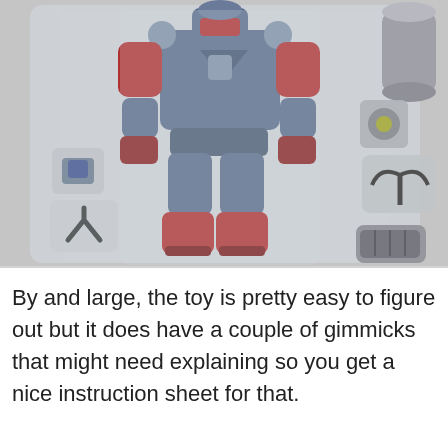[Figure (photo): A robot action figure (Transformer-style, blue and red) in clear plastic packaging tray, laid flat on a white surface. The figure is shown with its body, legs, and various accessories like hands and attachments visible in separate compartments of the blister tray.]
By and large, the toy is pretty easy to figure out but it does have a couple of gimmicks that might need explaining so you get a nice instruction sheet for that.